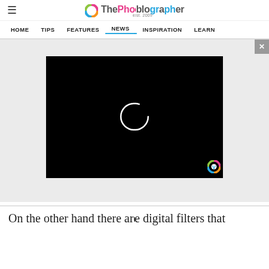ThePhoblographer est. 2009
HOME  TIPS  FEATURES  NEWS  INSPIRATION  LEARN
[Figure (screenshot): Video player loading screen on dark/gray advertisement area with a black video player showing a loading spinner circle. A close (X) button appears top right, and a V badge bottom right of the player.]
On the other hand there are digital filters that